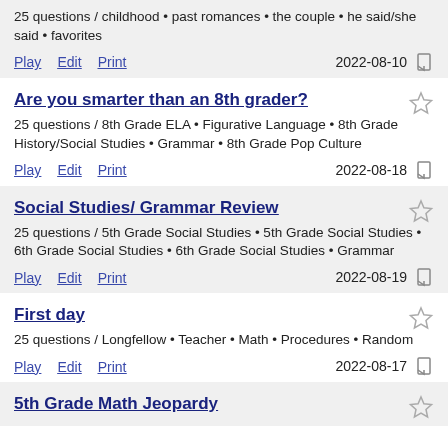25 questions / childhood • past romances • the couple • he said/she said • favorites
Play  Edit  Print  2022-08-10
Are you smarter than an 8th grader?
25 questions / 8th Grade ELA • Figurative Language • 8th Grade History/Social Studies • Grammar • 8th Grade Pop Culture
Play  Edit  Print  2022-08-18
Social Studies/ Grammar Review
25 questions / 5th Grade Social Studies • 5th Grade Social Studies • 6th Grade Social Studies • 6th Grade Social Studies • Grammar
Play  Edit  Print  2022-08-19
First day
25 questions / Longfellow • Teacher • Math • Procedures • Random
Play  Edit  Print  2022-08-17
5th Grade Math Jeopardy